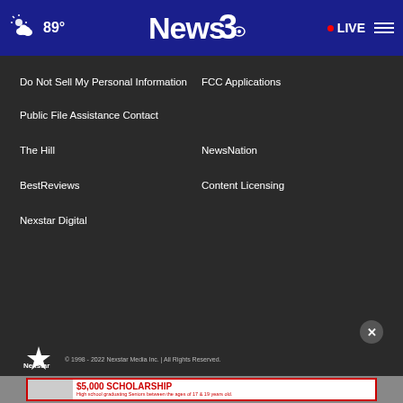[Figure (screenshot): News3 website header with weather (cloud icon, 89°), News3 CBS logo in center, red LIVE button and hamburger menu on right, dark blue background]
Do Not Sell My Personal Information
FCC Applications
Public File Assistance Contact
The Hill
NewsNation
BestReviews
Content Licensing
Nexstar Digital
© 1998 - 2022 Nexstar Media Inc. | All Rights Reserved.
[Figure (photo): Advertisement banner: $5,000 SCHOLARSHIP - High school graduating Seniors between the ages of 17 & 19 years old.]